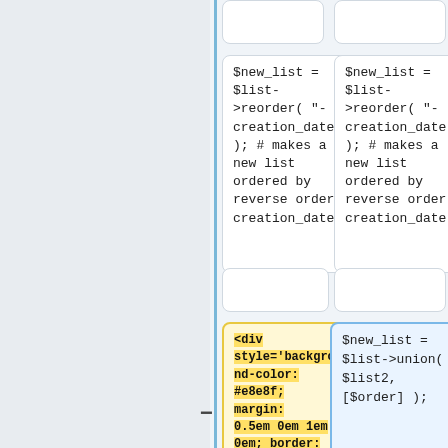[Figure (screenshot): Diff view showing two code boxes at top with $new_list = $list-&gt;reorder("-creation_date"); # makes a new list ordered by reverse order creation_date in both left and right columns]
$new_list = $list-&gt;reorder( "-creation_date" ); # makes a new list ordered by reverse order creation_date
$new_list = $list-&gt;reorder( "-creation_date" ); # makes a new list ordered by reverse order creation_date
[Figure (screenshot): Diff view showing deleted (yellow) code box with <div style='background-color: #e8e8f; margin: 0.5em 0em 1em 0em; border: solid 1px #cce; padding: 0em 1em 0em 1em; font-size: 80%;'> and added (blue) code box with $new_list = $list-&gt;union( $list2, [$order] );]
<div style='background-color: #e8e8f; margin: 0.5em 0em 1em 0em; border: solid 1px #cce; padding: 0em 1em 0em 1em; font-size: 80%;'>
$new_list = $list-&gt;union( $list2, [$order] );